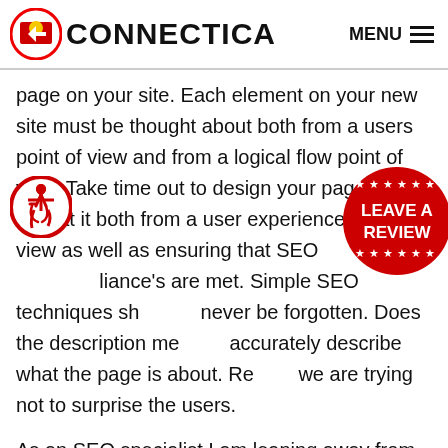CONNECTICA  MENU
page on your site. Each element on your new site must be thought about both from a users point of view and from a logical flow point of view. Take time out to design your page layout, look at it both from a user experience point of view as well as ensuring that SEO compliance's are met. Simple SEO techniques should never be forgotten. Does the description meta tag accurately describe what the page is about. Remember we are trying not to surprise the users.
As an SEO specialist I am leaning away from keywords content side (keywords from the user side or side of SEO is still critically important)  When